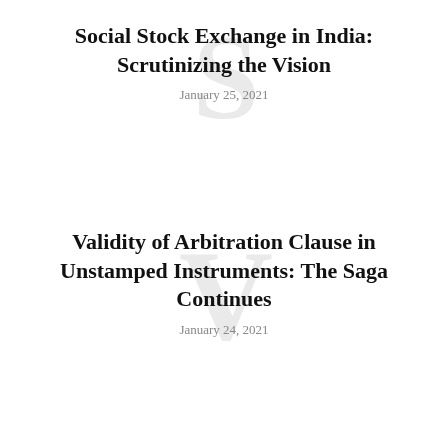Social Stock Exchange in India: Scrutinizing the Vision
January 25, 2021
Validity of Arbitration Clause in Unstamped Instruments: The Saga Continues
January 24, 2021